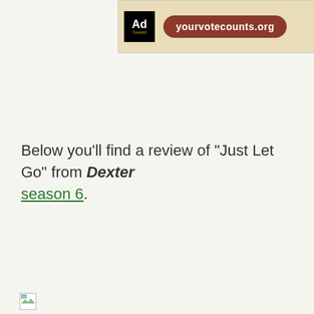[Figure (other): Ad Council banner advertisement with yourvotecounts.org URL button and arrow, on a beige/parchment-style background]
Below you’ll find a review of “Just Let Go” from Dexter season 6.
[Figure (other): Broken image placeholder with alt text 'dexter']